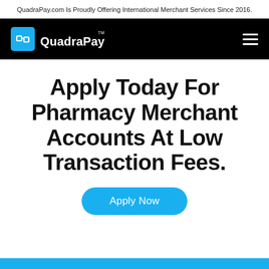QuadraPay.com Is Proudly Offering International Merchant Services Since 2016.
[Figure (logo): QuadraPay logo: blue square icon with QP letters and QuadraPay wordmark in white on black navigation bar]
Apply Today For Pharmacy Merchant Accounts At Low Transaction Fees.
Apply Now